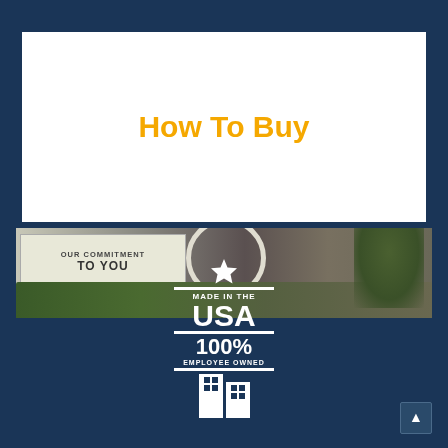How To Buy
[Figure (photo): Outdoor photo strip showing a company sign reading 'OUR COMMITMENT TO YOU', a circular logo element, building exterior, trees and bushes]
[Figure (logo): Made in the USA 100% Employee Owned badge/logo with star, horizontal bars, text, and building icon]